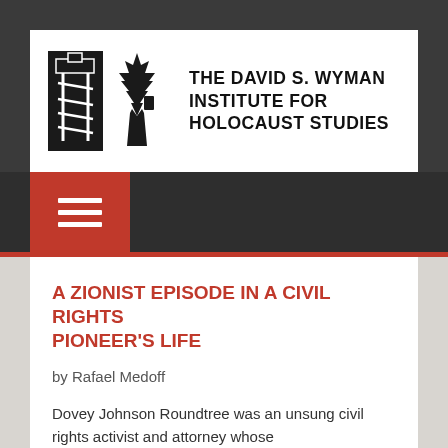The David S. Wyman Institute for Holocaust Studies
A Zionist Episode in a Civil Rights Pioneer's Life
by Rafael Medoff
Dovey Johnson Roundtree was an unsung civil rights activist and attorney whose